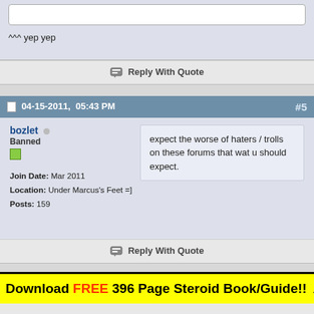^^^ yep yep
Reply With Quote
04-15-2011, 05:43 PM #5
bozlet
Banned
Join Date: Mar 2011
Location: Under Marcus's Feet =]
Posts: 159
expect the worse of haters / trolls on these forums that wat u should expect.
Reply With Quote
Download FREE 396 Page Steroid Book/Guide!! ▲